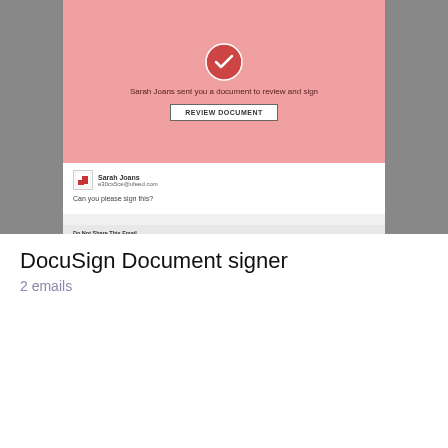[Figure (screenshot): Screenshot of a DocuSign email in a mobile phone frame. The email shows a pink header with a DocuSign icon, text 'Sarah Joans sent you a document to review and sign', a 'REVIEW DOCUMENT' button, sender info for Sarah Joans with email e30cs5ce@ufeed.com, message 'Can you please sign this?', and a gray footer with sections 'Do Not Share This Email', 'Alternate Signing Method', and 'About DocuSign'.]
DocuSign Document signer
2 emails